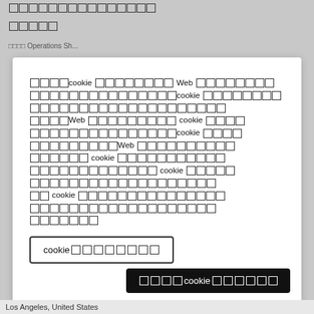□□□□□□□□□□□□□□□
□□□□□
□□□□cookie□□□□□□□□□ Web □□□□□□□□□□□□□□□□□□□□□□□□□□□□□cookie□□□□□□□□□□□□□□□□□□□□□□□□□□□□□□□□□□□□□□□□Web□□□□□□□□□□□□ cookie□□□□□□□□□□□□□□□□□□□□□□□□cookie□□□□□□□□□□□□□□□□□□Web□□□□□□□□□□□□□□□□□□□□□□□ cookie□□□□□□□□□□□□□□□□□□□□□□□□□□□□□□□□□ cookie□□□□□□□□□□□□□□□□□□□□□□□□□□□□□□□□□□□□□□□□□□□□□ cookie□□□□□□□□□□□□□□□□□□□□□□□□□□□□□□□□□□□□□□□□□□□
cookie □□□□□□□□□
□□□□ cookie □□□□□□□
Los Angeles, United States